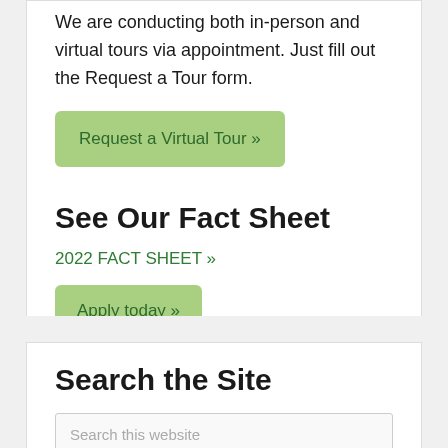We are conducting both in-person and virtual tours via appointment. Just fill out the Request a Tour form.
Request a Virtual Tour »
See Our Fact Sheet
2022 FACT SHEET »
Apply today »
Search the Site
Search this website